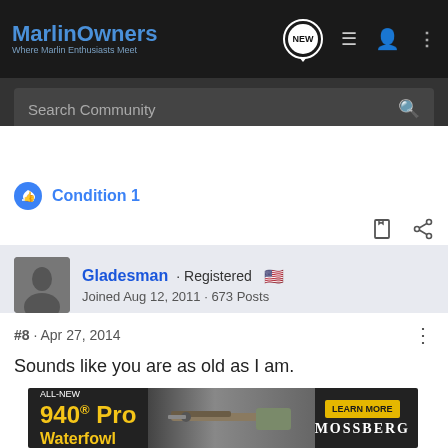MarlinOwners · Where Marlin Enthusiasts Meet
Search Community
Condition 1
Gladesman · Registered
Joined Aug 12, 2011 · 673 Posts
#8 · Apr 27, 2014
Sounds like you are as old as I am.
[Figure (screenshot): Mossberg 940 Pro Waterfowl advertisement banner with firearm image]